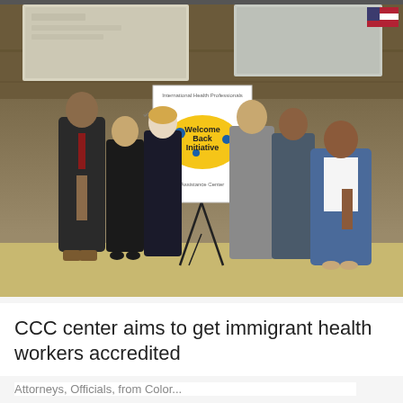[Figure (photo): Six people standing together in a large room with projection screens in the background, posing around an easel holding a sign that reads 'Welcome Back Initiative' on a yellow map of the United States, with the text 'International Health Professionals Assistance Center' around the border of the sign. An American flag is visible in the upper right corner.]
CCC center aims to get immigrant health workers accredited
Attorneys, Officials, from Color...